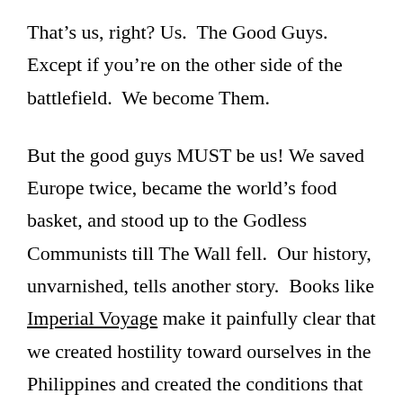That’s us, right? Us.  The Good Guys.  Except if you’re on the other side of the battlefield.  We become Them.
But the good guys MUST be us! We saved Europe twice, became the world’s food basket, and stood up to the Godless Communists till The Wall fell.  Our history, unvarnished, tells another story.  Books like Imperial Voyage make it painfully clear that we created hostility toward ourselves in the Philippines and created the conditions that drove Japan to attack us at Pearl Harbor.  As much as it pains me to say it, we did it to ourselves.